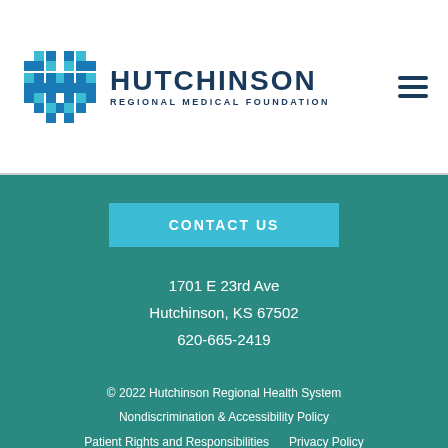[Figure (logo): Hutchinson Regional Medical Foundation logo with blue pixelated cross icon and text]
HUTCHINSON REGIONAL MEDICAL FOUNDATION
CONTACT US
1701 E 23rd Ave
Hutchinson, KS 67502
620-665-2419
© 2022 Hutchinson Regional Health System
Nondiscrimination & Accessibility Policy
Patient Rights and Responsibilities    Privacy Policy
Sitemap    Search